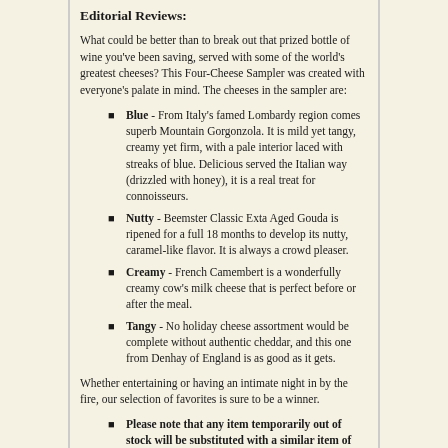Editorial Reviews:
What could be better than to break out that prized bottle of wine you’ve been saving, served with some of the world’s greatest cheeses? This Four-Cheese Sampler was created with everyone’s palate in mind. The cheeses in the sampler are:
Blue - From Italy’s famed Lombardy region comes superb Mountain Gorgonzola. It is mild yet tangy, creamy yet firm, with a pale interior laced with streaks of blue. Delicious served the Italian way (drizzled with honey), it is a real treat for connoisseurs.
Nutty - Beemster Classic Exta Aged Gouda is ripened for a full 18 months to develop its nutty, caramel-like flavor. It is always a crowd pleaser.
Creamy - French Camembert is a wonderfully creamy cow’s milk cheese that is perfect before or after the meal.
Tangy - No holiday cheese assortment would be complete without authentic cheddar, and this one from Denhay of England is as good as it gets.
Whether entertaining or having an intimate night in by the fire, our selection of favorites is sure to be a winner.
Please note that any item temporarily out of stock will be substituted with a similar item of equal value.
Spotlight customer reviews:
Customer Rating: [4 stars]